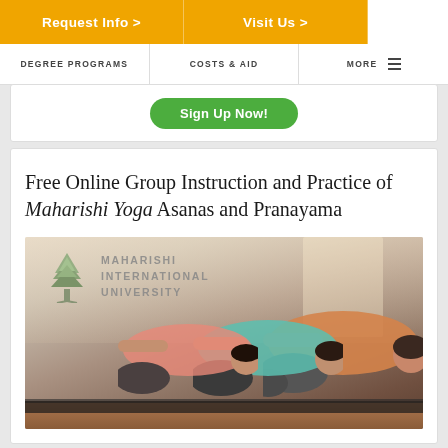Request Info > | Visit Us >
DEGREE PROGRAMS | COSTS & AID | MORE
[Figure (screenshot): Partial view of a Sign Up Now! green button inside a white card]
Free Online Group Instruction and Practice of Maharishi Yoga Asanas and Pranayama
[Figure (photo): Photo of people doing yoga child's pose on mats in a studio, with Maharishi International University logo watermark in top left showing a tree icon and institution name in gray]